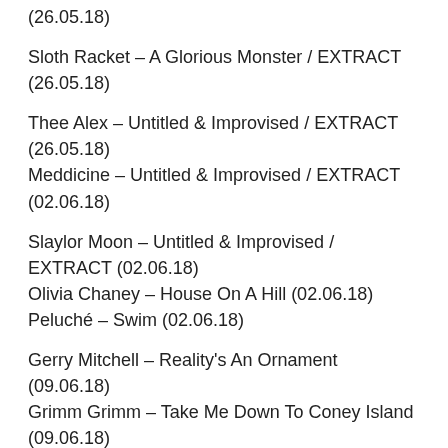(26.05.18)
Sloth Racket – A Glorious Monster / EXTRACT (26.05.18)
Thee Alex – Untitled & Improvised / EXTRACT (26.05.18)
Meddicine – Untitled & Improvised / EXTRACT (02.06.18)
Slaylor Moon – Untitled & Improvised / EXTRACT (02.06.18)
Olivia Chaney – House On A Hill (02.06.18)
Peluché – Swim (02.06.18)
Gerry Mitchell – Reality's An Ornament (09.06.18)
Grimm Grimm – Take Me Down To Coney Island (09.06.18)
Ingrid Plum – Les Roches Meres (09.06.18)
Jezmi Fehmi – Seismologist (16.06.18)
Marine Store Dealer – Aeroplane (16.06.18)